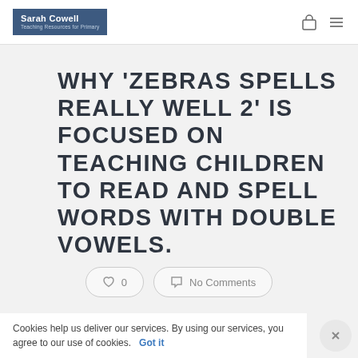Sarah Cowell — Teaching Resources for Primary
WHY 'ZEBRAS SPELLS REALLY WELL 2' IS FOCUSED ON TEACHING CHILDREN TO READ AND SPELL WORDS WITH DOUBLE VOWELS.
♡ 0
No Comments
Cookies help us deliver our services. By using our services, you agree to our use of cookies.  Got it